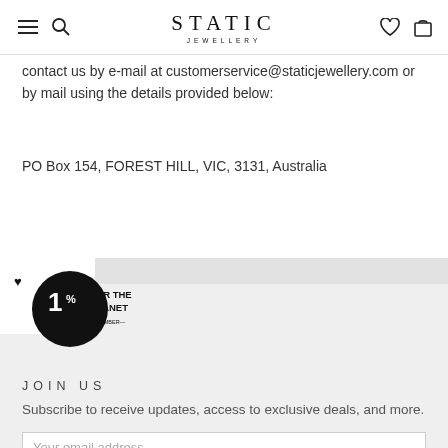STATIC JEWELLERY
contact us by e-mail at customerservice@staticjewellery.com or by mail using the details provided below:
PO Box 154, FOREST HILL, VIC, 3131, Australia
[Figure (logo): 1% For The Planet member logo — circular black badge with '1%' text and 'FOR THE PLANET — MEMBER —' text]
JOIN US
Subscribe to receive updates, access to exclusive deals, and more.
Your email address